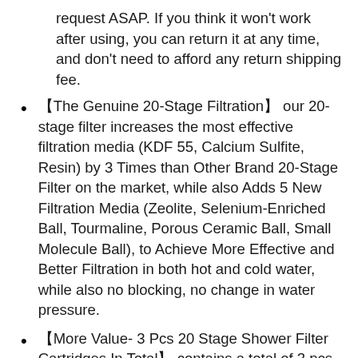request ASAP. If you think it won't work after using, you can return it at any time, and don't need to afford any return shipping fee.
【The Genuine 20-Stage Filtration】 our 20-stage filter increases the most effective filtration media (KDF 55, Calcium Sulfite, Resin) by 3 Times than Other Brand 20-Stage Filter on the market, while also Adds 5 New Filtration Media (Zeolite, Selenium-Enriched Ball, Tourmaline, Porous Ceramic Ball, Small Molecule Ball), to Achieve More Effective and Better Filtration in both hot and cold water, while also no blocking, no change in water pressure.
【More Value- 3 Pcs 20 Stage Shower Filter Cartridges In Total】 contains a total of 3 pcs 20 stage shower filter cartridges (one is already in the filter shell, and the other